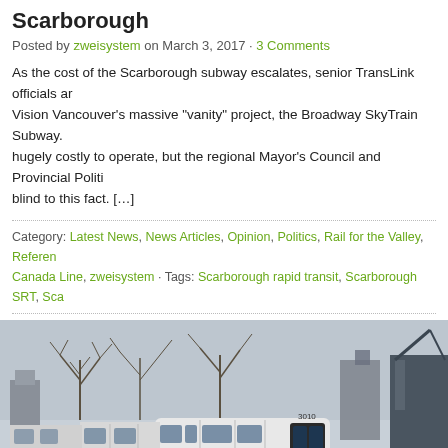Scarborough
Posted by zweisystem on March 3, 2017 · 3 Comments
As the cost of the Scarborough subway escalates, senior TransLink officials ar... Vision Vancouver's massive "vanity" project, the Broadway SkyTrain Subway. hugely costly to operate, but the regional Mayor's Council and Provincial Politi... blind to this fact. [...]
Category: Latest News, News Articles, Opinion, Politics, Rail for the Valley, Referen... Canada Line, zweisystem · Tags: Scarborough rapid transit, Scarborough SRT, Sca...
[Figure (photo): A Scarborough SRT train (numbered 3010) on elevated tracks in winter, with bare trees and industrial buildings in the background.]